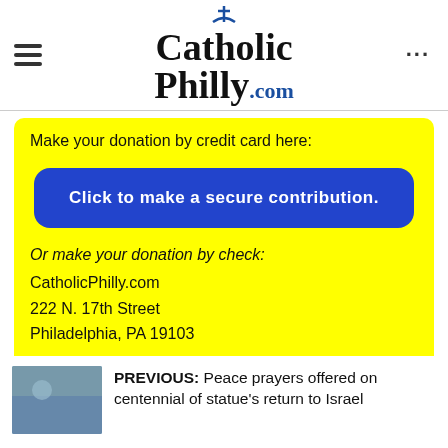CatholicPhilly.com
Make your donation by credit card here:
Click to make a secure contribution.
Or make your donation by check:
CatholicPhilly.com
222 N. 17th Street
Philadelphia, PA 19103
PREVIOUS: Peace prayers offered on centennial of statue's return to Israel